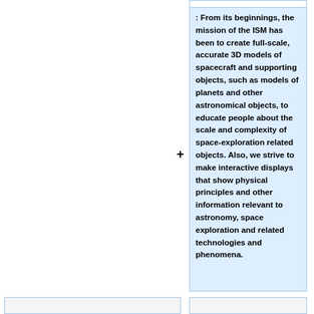: From its beginnings, the mission of the ISM has been to create full-scale, accurate 3D models of spacecraft and supporting objects, such as models of planets and other astronomical objects, to educate people about the scale and complexity of space-exploration related objects. Also, we strive to make interactive displays that show physical principles and other information relevant to astronomy, space exploration and related technologies and phenomena.